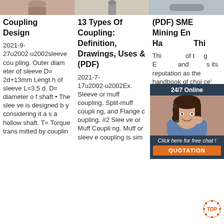[Figure (photo): Three thumbnail images at the top showing coupling-related photos]
Coupling Design
2021-9-27u2002·u2002sleeve coupling. Outer diameter of sleeve D=2d+13mm Length of sleeve L=3.5d. D= diameter of shaft • The sleeve is designed by considering it as a hollow shaft. T= Torque transmitted by couplin
13 Types Of Coupling: Definition, Drawings, Uses & (PDF)
2021-7-17u2002·u2002Ex. Sleeve or muff coupling, Split-muff coupling, and Flange coupling. #2 Sleeve or Muff Coupling. Muff or sleeve coupling is sim
(PDF) SME Mining En Ha Thi
This of t g E and s its reputation as the handbook of choice' for today's practicing mining engineer.
[Figure (infographic): Chat widget overlay with '24/7 Online' header, woman with headset photo, 'Click here for free chat!' text, and orange QUOTATION button]